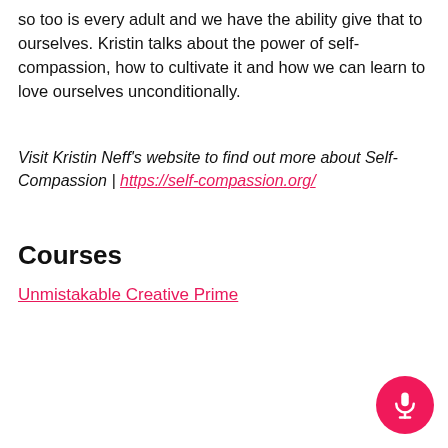so too is every adult and we have the ability give that to ourselves. Kristin talks about the power of self-compassion, how to cultivate it and how we can learn to love ourselves unconditionally.
Visit Kristin Neff's website to find out more about Self-Compassion | https://self-compassion.org/
Courses
Unmistakable Creative Prime